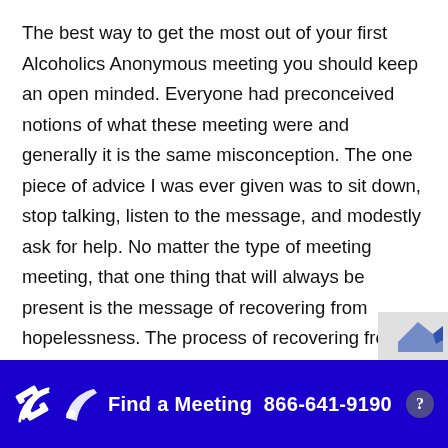The best way to get the most out of your first Alcoholics Anonymous meeting you should keep an open minded. Everyone had preconceived notions of what these meeting were and generally it is the same misconception. The one piece of advice I was ever given was to sit down, stop talking, listen to the message, and modestly ask for help. No matter the type of meeting meeting, that one thing that will always be present is the message of recovering from hopelessness. The process of recovering from that hopeless state is in asking for help from another addict which you will find in any AA meeting you choose to start with.
Find a Meeting  866-641-9190  ?